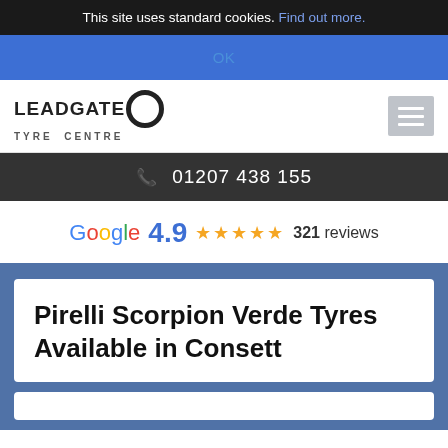This site uses standard cookies. Find out more.
OK
[Figure (logo): Leadgate Tyre Centre logo with stylized tire graphic]
01207 438 155
Google 4.9 ★★★★★ 321 reviews
Pirelli Scorpion Verde Tyres Available in Consett